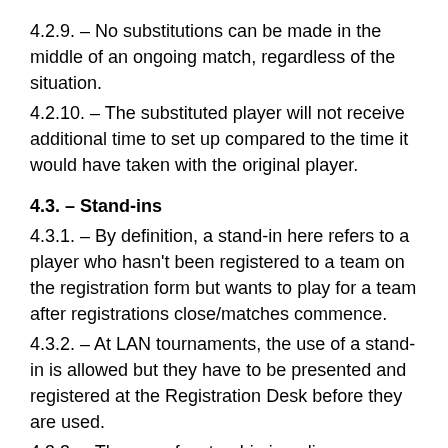4.2.9. – No substitutions can be made in the middle of an ongoing match, regardless of the situation.
4.2.10. – The substituted player will not receive additional time to set up compared to the time it would have taken with the original player.
4.3. – Stand-ins
4.3.1. – By definition, a stand-in here refers to a player who hasn't been registered to a team on the registration form but wants to play for a team after registrations close/matches commence.
4.3.2. – At LAN tournaments, the use of a stand-in is allowed but they have to be presented and registered at the Registration Desk before they are used.
4.3.3. – The use of a stand-in in online tournaments is strictly prohibited and is grounds